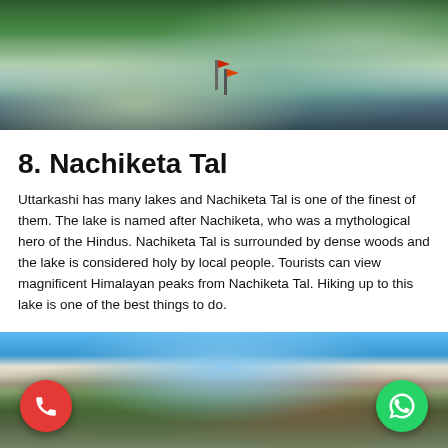[Figure (photo): Nachiketa Tal lake with green forested hills reflected in calm water, red prayer flags, and snow patches visible in background with blue sky]
8. Nachiketa Tal
Uttarkashi has many lakes and Nachiketa Tal is one of the finest of them. The lake is named after Nachiketa, who was a mythological hero of the Hindus. Nachiketa Tal is surrounded by dense woods and the lake is considered holy by local people. Tourists can view magnificent Himalayan peaks from Nachiketa Tal. Hiking up to this lake is one of the best things to do.
[Figure (photo): Mountain valley with snow-capped Himalayan peaks visible between forested slopes under a blue sky]